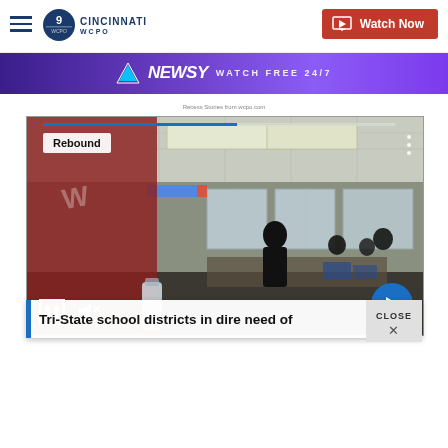WCPO 9 Cincinnati — Watch Now
[Figure (screenshot): Newsy advertisement banner with purple gradient background and text 'NEWSY WATCH FREE 24/7']
Recess Stories from wcpo.com
[Figure (screenshot): Video player showing classroom scene with teacher and students at desks. Overlay shows Rebound tag, pause button, mute button, progress bar, and forward arrow button.]
Tri-State school districts in dire need of